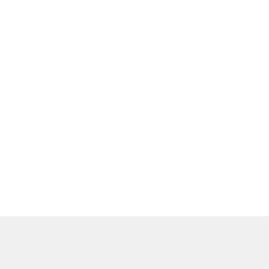█████
█████████ ████████████████████